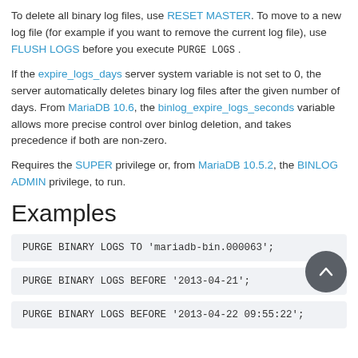To delete all binary log files, use RESET MASTER. To move to a new log file (for example if you want to remove the current log file), use FLUSH LOGS before you execute PURGE LOGS .
If the expire_logs_days server system variable is not set to 0, the server automatically deletes binary log files after the given number of days. From MariaDB 10.6, the binlog_expire_logs_seconds variable allows more precise control over binlog deletion, and takes precedence if both are non-zero.
Requires the SUPER privilege or, from MariaDB 10.5.2, the BINLOG ADMIN privilege, to run.
Examples
PURGE BINARY LOGS TO 'mariadb-bin.000063';
PURGE BINARY LOGS BEFORE '2013-04-21';
PURGE BINARY LOGS BEFORE '2013-04-22 09:55:22';